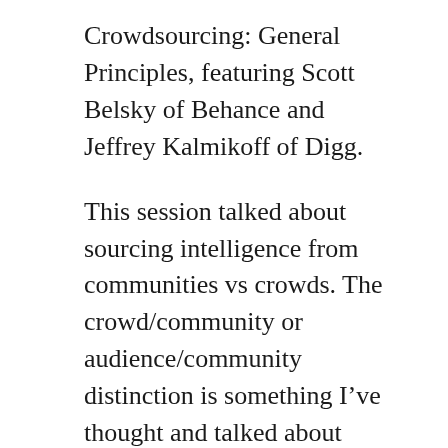Crowdsourcing: General Principles, featuring Scott Belsky of Behance and Jeffrey Kalmikoff of Digg.
This session talked about sourcing intelligence from communities vs crowds. The crowd/community or audience/community distinction is something I’ve thought and talked about quite a bit. In the world of “social media,” I don’t think we’ve made the distinction or found it important enough. “Social media” is a marketing term, and much of that thinking has come from marketing professionals who are trying to understand how to do post-broadcast marketing, in a world where media and mindshare are